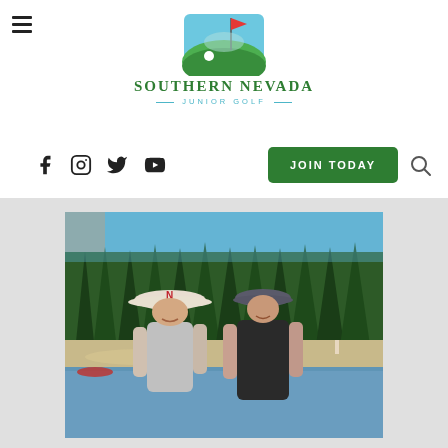Southern Nevada Junior Golf — website header with logo, social icons, JOIN TODAY button, and search icon
[Figure (logo): Southern Nevada Junior Golf logo: golf flag on green hill with blue sky, text SOUTHERN NEVADA JUNIOR GOLF]
[Figure (photo): Two women smiling at a lakeside beach with tall pine trees and blue sky in the background. One wears a wide-brim hat with N logo and sunglasses, the other wears a dark cap and black shirt.]